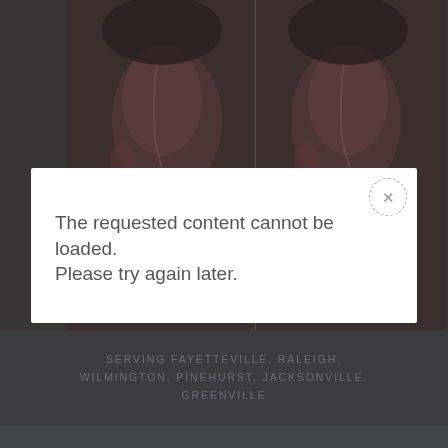[Figure (photo): Two side-by-side profile photos of a person's face (before and after rhinoplasty) on a dark background. Left photo shows profile view, right photo shows same profile view. Both are dim/dark-toned images.]
The requested content cannot be loaded.
Please try again later.
SERVING FAYETTEVILLE, RALEIGH, WILMINGTON, PINEHURST, JACKSONVILLE, GREENVILLE